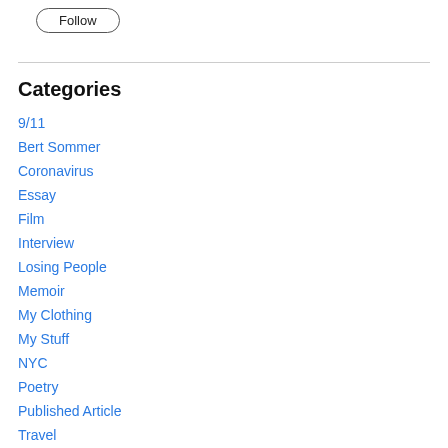[Figure (other): Follow button — rounded rectangle button with label 'Follow']
Categories
9/11
Bert Sommer
Coronavirus
Essay
Film
Interview
Losing People
Memoir
My Clothing
My Stuff
NYC
Poetry
Published Article
Travel
Uncategorized (partial)